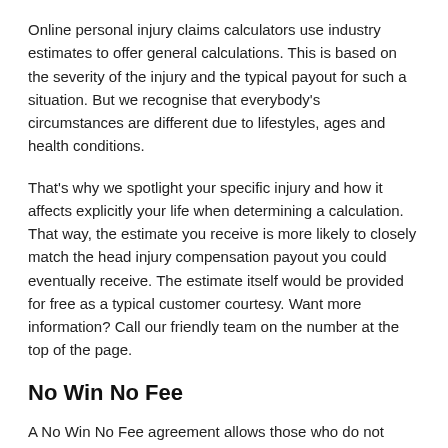Online personal injury claims calculators use industry estimates to offer general calculations. This is based on the severity of the injury and the typical payout for such a situation. But we recognise that everybody's circumstances are different due to lifestyles, ages and health conditions.
That's why we spotlight your specific injury and how it affects explicitly your life when determining a calculation. That way, the estimate you receive is more likely to closely match the head injury compensation payout you could eventually receive. The estimate itself would be provided for free as a typical customer courtesy. Want more information? Call our friendly team on the number at the top of the page.
No Win No Fee
A No Win No Fee agreement allows those who do not have the initial funds to hire a solicitor the chance to do so. A No Win No Fee personal injury solicitor's costs would only be covered if your case wins; at that point, they take a (limited by law) success fee. Otherwise, though, you wouldn't have to pay any legal costs of your personal injury solicitor. No upfront funds are needed.